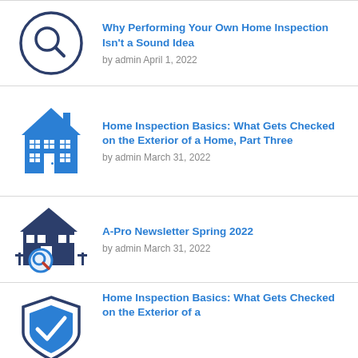Why Performing Your Own Home Inspection Isn't a Sound Idea
by admin April 1, 2022
Home Inspection Basics: What Gets Checked on the Exterior of a Home, Part Three
by admin March 31, 2022
A-Pro Newsletter Spring 2022
by admin March 31, 2022
Home Inspection Basics: What Gets Checked on the Exterior of a